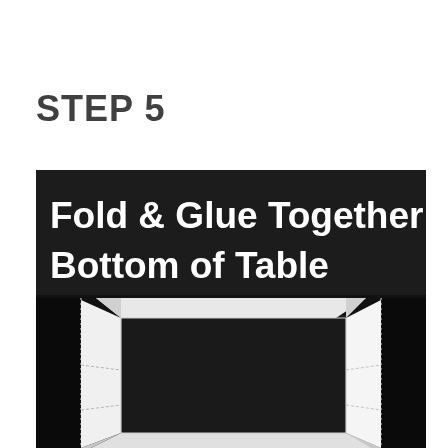STEP 5
[Figure (photo): Photo of a cardboard table being assembled, viewed from above showing the bottom/inside of the table with folded and glued sides visible against a dark background. White text overlay reads 'Fold & Glue Together Bottom of Table'.]